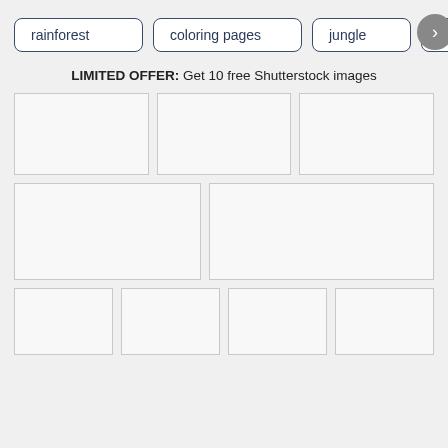rainforest
coloring pages
jungle
hand drawn
LIMITED OFFER: Get 10 free Shutterstock images
[Figure (other): Grid of image placeholders: row of 3 equal placeholder boxes]
[Figure (other): Grid of image placeholders: row of 2 wide placeholder boxes]
[Figure (other): Grid of image placeholders: row of 4 equal placeholder boxes]